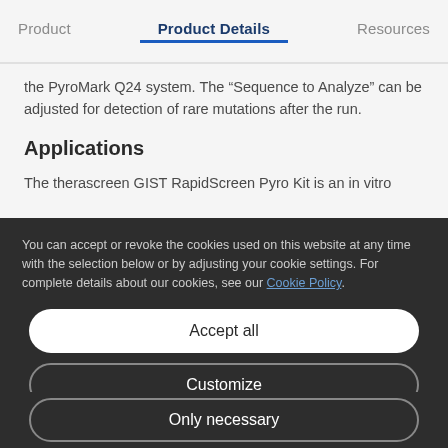Product   Product Details   Resources
the PyroMark Q24 system. The “Sequence to Analyze” can be adjusted for detection of rare mutations after the run.
Applications
The therascreen GIST RapidScreen Pyro Kit is an in vitro
You can accept or revoke the cookies used on this website at any time with the selection below or by adjusting your cookie settings. For complete details about our cookies, see our Cookie Policy.
Accept all
Customize
Only necessary